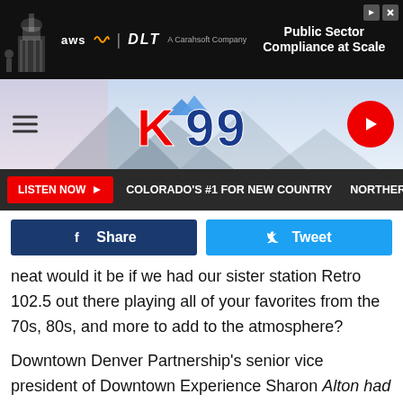[Figure (screenshot): Ad banner for AWS and DLT: Public Sector Compliance at Scale]
[Figure (logo): K99 radio station logo with mountain background]
[Figure (screenshot): Navigation bar with hamburger menu, K99 logo, and play button]
LISTEN NOW ▶  COLORADO'S #1 FOR NEW COUNTRY  NORTHERN C
[Figure (screenshot): Share and Tweet social buttons]
neat would it be if we had our sister station Retro 102.5 out there playing all of your favorites from the 70s, 80s, and more to add to the atmosphere?
Downtown Denver Partnership's senior vice president of Downtown Experience Sharon Alton had this to say in a recent press release:
"We've seen so much success with the Downtown Denver Rink during the winter months and wanted to find a way to